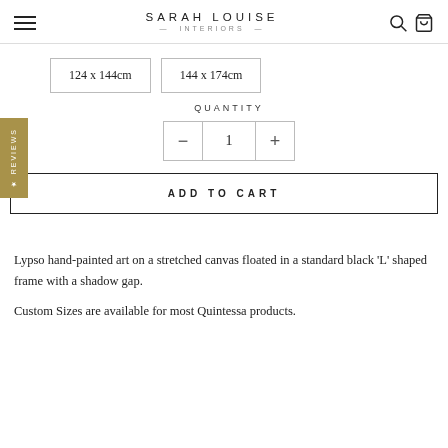SARAH LOUISE INTERIORS
124 x 144cm
144 x 174cm
QUANTITY
- 1 +
ADD TO CART
REVIEWS
Lypso hand-painted art on a stretched canvas floated in a standard black 'L' shaped frame with a shadow gap.
Custom Sizes are available for most Quintessa products.